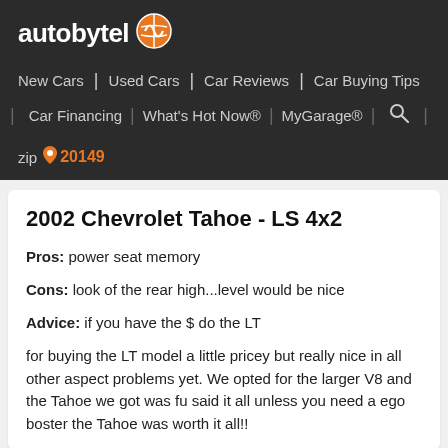[Figure (logo): Autobytel logo with orange globe icon on dark background]
New Cars | Used Cars | Car Reviews | Car Buying Tips | Car Financing | What's Hot Now® | MyGarage® | Search
zip 📍 20149
2002 Chevrolet Tahoe - LS 4x2
Pros: power seat memory
Cons: look of the rear high...level would be nice
Advice: if you have the $ do the LT
for buying the LT model a little pricey but really nice in all other aspect problems yet. We opted for the larger V8 and the Tahoe we got was fu said it all unless you need a ego boster the Tahoe was worth it all!!